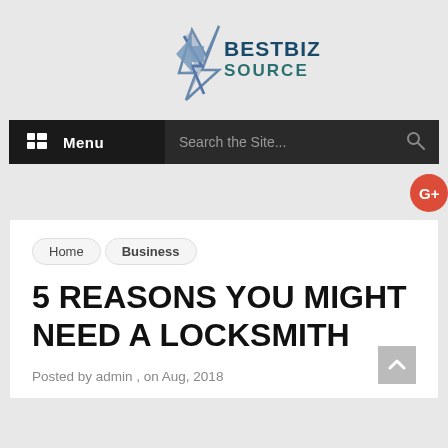[Figure (logo): BestBiz Source logo with blue/teal star-lightning bolt shape and text BESTBIZ SOURCE]
Menu  Search the Site...
[Figure (logo): Google Plus red circle button with G+]
Home  Business
5 REASONS YOU MIGHT NEED A LOCKSMITH
Posted by admin , on Aug, 2018